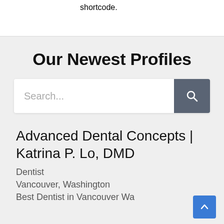shortcode.
Our Newest Profiles
[Figure (screenshot): Search bar with text input placeholder 'Search...' and a dark grey search button with magnifying glass icon]
Advanced Dental Concepts | Katrina P. Lo, DMD
Dentist
Vancouver, Washington
Best Dentist in Vancouver Wa